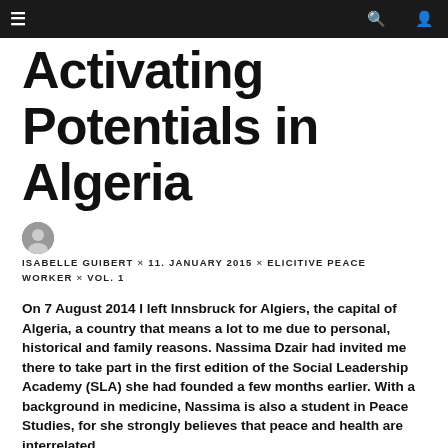≡   Q  👤
Activating Potentials in Algeria
ISABELLE GUIBERT × 11. JANUARY 2015 × ELICITIVE PEACE WORKER × VOL. 1
On 7 August 2014 I left Innsbruck for Algiers, the capital of Algeria, a country that means a lot to me due to personal, historical and family reasons. Nassima Dzair had invited me there to take part in the first edition of the Social Leadership Academy (SLA) she had founded a few months earlier. With a background in medicine, Nassima is also a student in Peace Studies, for she strongly believes that peace and health are interrelated.